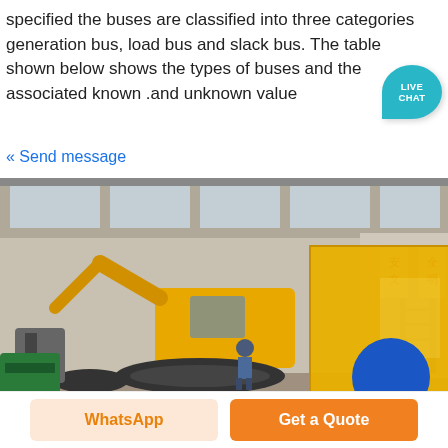specified the buses are classified into three categories generation bus, load bus and slack bus. The table shown below shows the types of buses and the associated kn...and unknown value
« Send message
[Figure (photo): Yellow excavator/construction machine with large yellow ramp/chute attachment in an industrial warehouse setting. Chinese safety signage visible on right wall. A worker stands near the machine. Blue circle overlay in bottom right corner.]
WhatsApp
Get a Quote